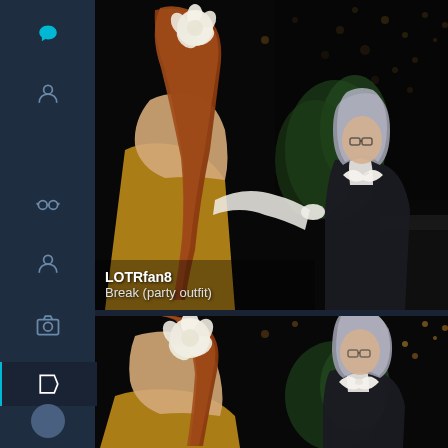[Figure (screenshot): Mobile app sidebar with navigation icons including a teal logo icon, person icon, glasses icon, another person icon, camera icon, and an active tag/label icon highlighted in teal on a dark navy background.]
[Figure (photo): Cosplay photo of two cosplayers in party outfits. A woman with auburn hair in an updo with a large white flower, wearing a strapless golden/bronze dress with white gloves, facing away from camera. A person with short silver/grey hair wearing a black suit with a large white bow tie, facing toward camera. Dark bokeh background with lights.]
LOTRfan8
Break (party outfit)
[Figure (photo): Second cosplay photo, closer crop of the same two cosplayers. Woman with auburn hair and white flower updo in golden strapless dress visible from behind/side. Silver-haired cosplayer in black suit with large white bow tie visible facing camera. Dark bokeh background.]